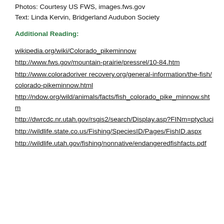Photos: Courtesy US FWS, images.fws.gov
Text: Linda Kervin, Bridgerland Audubon Society
Additional Reading:
wikipedia.org/wiki/Colorado_pikeminnow
http://www.fws.gov/mountain-prairie/pressrel/10-84.htm
http://www.coloradoriver recovery.org/general-information/the-fish/colorado-pikeminnow.html
http://ndow.org/wild/animals/facts/fish_colorado_pike_minnow.shtm
http://dwrcdc.nr.utah.gov/rsgis2/search/Display.asp?FINm=ptycluci
http://wildlife.state.co.us/Fishing/SpeciesID/Pages/FishID.aspx
http://wildlife.utah.gov/fishing/nonnative/endangeredfishfacts.pdf